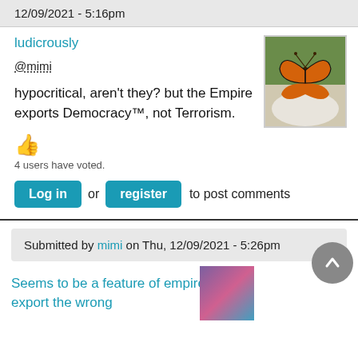12/09/2021 - 5:16pm
ludicrously
@mimi
[Figure (photo): Photo of a monarch butterfly resting on a white flower or rock, with green foliage in the background.]
hypocritical, aren't they? but the Empire exports Democracy™, not Terrorism.
👍
4 users have voted.
Log in or register to post comments
Submitted by mimi on Thu, 12/09/2021 - 5:26pm
Seems to be a feature of empires to export the wrong